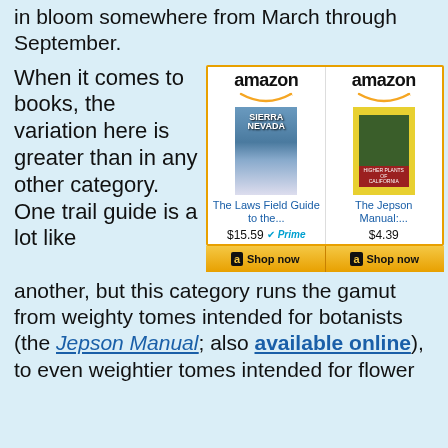in bloom somewhere from March through September.
When it comes to books, the variation here is greater than in any other category. One trail guide is a lot like another, but this category runs the gamut from weighty tomes intended for botanists (the Jepson Manual; also available online), to even weightier tomes intended for flower
[Figure (other): Amazon product widget showing two book listings: 'The Laws Field Guide to the...' priced at $15.59 with Prime, and 'The Jepson Manual:...' priced at $4.39. Both with 'Shop now' buttons.]